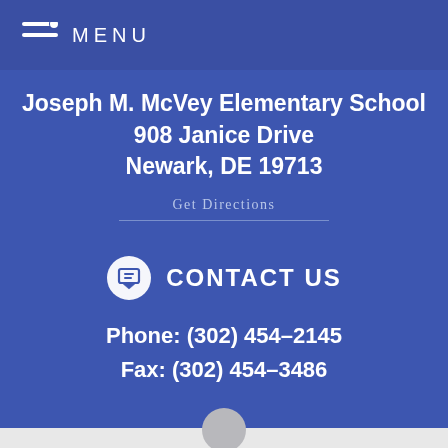MENU
Joseph M. McVey Elementary School
908 Janice Drive
Newark, DE 19713
Get Directions
CONTACT US
Phone: (302) 454-2145
Fax: (302) 454-3486
View Full Site